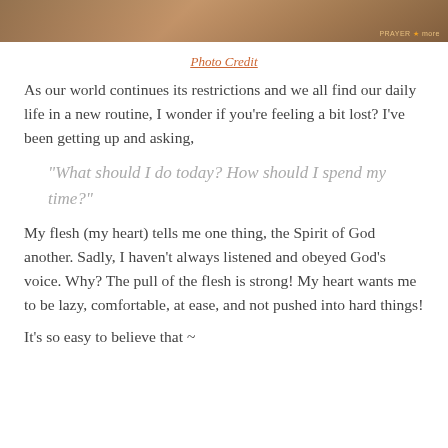[Figure (photo): Partial view of a warm-toned photo strip at the top of the page, appearing to show a close-up with earthy/sandy colors. A small watermark is visible in the lower right corner.]
Photo Credit
As our world continues its restrictions and we all find our daily life in a new routine, I wonder if you're feeling a bit lost?  I've been getting up and asking,
“What should I do today? How should I spend my time?”
My flesh (my heart) tells me one thing, the Spirit of God another.  Sadly, I haven't always listened and obeyed God's voice.  Why?  The pull of the flesh is strong!  My heart wants me to be lazy, comfortable, at ease, and not pushed into hard things!
It’s so easy to believe that ~